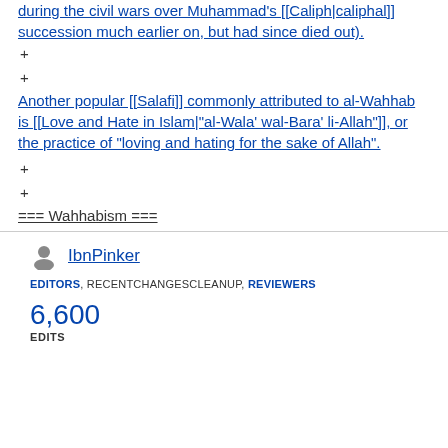during the civil wars over Muhammad's [[Caliph|caliphal]] succession much earlier on, but had since died out).
+
+
Another popular [[Salafi]] commonly attributed to al-Wahhab is [[Love and Hate in Islam|"al-Wala' wal-Bara' li-Allah"]], or the practice of "loving and hating for the sake of Allah".
+
+
=== Wahhabism ===
IbnPinker
EDITORS, RECENTCHANGESCLEANUP, REVIEWERS
6,600
EDITS